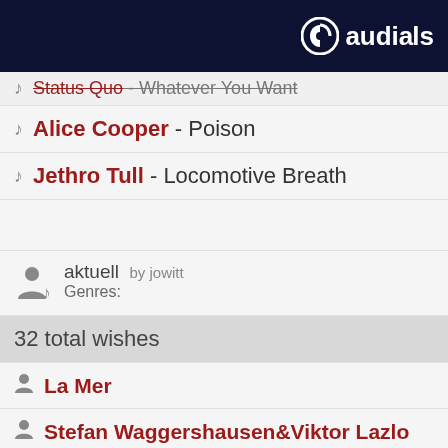[Figure (logo): Audials logo with circular icon and text 'audials' on dark navy background]
Status Quo - Whatever You Want (strikethrough)
Alice Cooper - Poison
Jethro Tull - Locomotive Breath
aktuell by jowitt
Genres:
32 total wishes
La Mer
Stefan Waggershausen&Viktor Lazlo
Dieter Thomas Kuhn
Wolfgang Petry - Kribbeln im Bauch